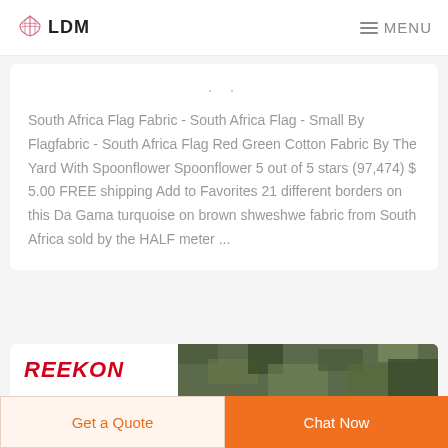LDM  MENU
South Africa Flag Fabric - South Africa Flag - Small By Flagfabric - South Africa Flag Red Green Cotton Fabric By The Yard With Spoonflower Spoonflower 5 out of 5 stars (97,474) $ 5.00 FREE shipping Add to Favorites 21 different borders on this Da Gama turquoise on brown shweshwe fabric from South Africa sold by the HALF meter ...
[Figure (photo): Partial view of a product image showing camouflage-patterned fabric with red bold italic text 'REEKON' on the left]
Get a Quote
Chat Now